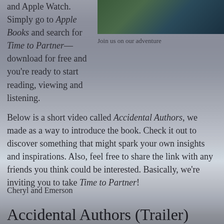and Apple Watch. Simply go to Apple Books and search for Time to Partner—download for free and you're ready to start reading, viewing and listening.
[Figure (photo): Two people outdoors wearing green jackets]
Join us on our adventure
Below is a short video called Accidental Authors, we made as a way to introduce the book. Check it out to discover something that might spark your own insights and inspirations. Also, feel free to share the link with any friends you think could be interested. Basically, we're inviting you to take Time to Partner!
Cheryl and Emerson
Accidental Authors (Trailer)